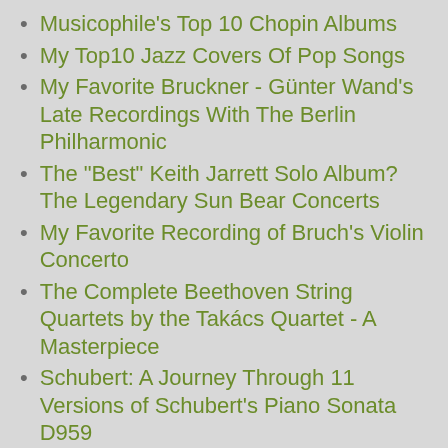Musicophile's Top 10 Chopin Albums
My Top10 Jazz Covers Of Pop Songs
My Favorite Bruckner - Günter Wand's Late Recordings With The Berlin Philharmonic
The "Best" Keith Jarrett Solo Album? The Legendary Sun Bear Concerts
My Favorite Recording of Bruch's Violin Concerto
The Complete Beethoven String Quartets by the Takács Quartet - A Masterpiece
Schubert: A Journey Through 11 Versions of Schubert's Piano Sonata D959
Musicophile's 25 Essential Classical Music Albums - Part I
Musicophile's 25 Essential Jazz Albums - Part I